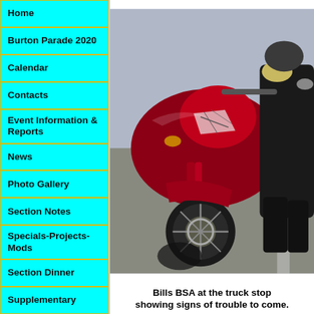Home
Burton Parade 2020
Calendar
Contacts
Event Information & Reports
News
Photo Gallery
Section Notes
Specials-Projects-Mods
Section Dinner
Supplementary
[Figure (photo): A red BSA motorcycle parked at a truck stop, with a rider in black gear visible, showing signs of tyre or mechanical trouble.]
Bills BSA at the truck stop showing signs of trouble to come.